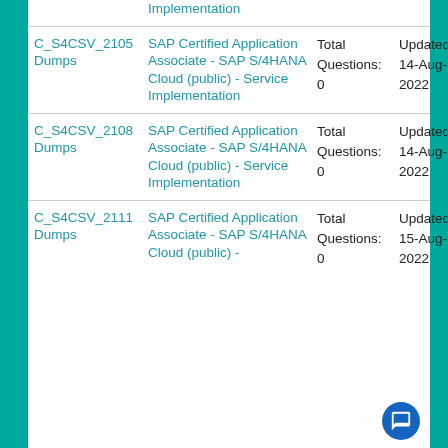| Exam | Certification Name | Questions | Updated | Status |
| --- | --- | --- | --- | --- |
| C_S4CSV_2105 Dumps | SAP Certified Application Associate - SAP S/4HANA Cloud (public) - Service Implementation | Total Questions: 0 | Updated: 14-Aug-2022 | A S |
| C_S4CSV_2108 Dumps | SAP Certified Application Associate - SAP S/4HANA Cloud (public) - Service Implementation | Total Questions: 0 | Updated: 14-Aug-2022 | A S |
| C_S4CSV_2111 Dumps | SAP Certified Application Associate - SAP S/4HANA Cloud (public) - | Total Questions: 0 | Updated: 15-Aug-2022 | A S |